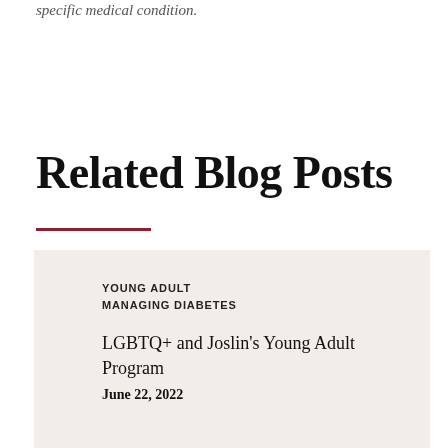specific medical condition.
Related Blog Posts
YOUNG ADULT
MANAGING DIABETES
LGBTQ+ and Joslin's Young Adult Program
June 22, 2022